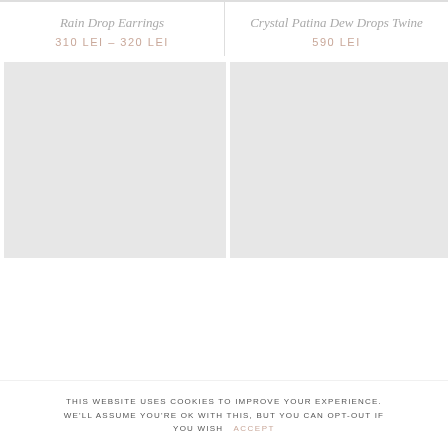Rain Drop Earrings
310 LEI – 320 LEI
Crystal Patina Dew Drops Twine
590 LEI
[Figure (photo): Product image placeholder left - light gray rectangle]
[Figure (photo): Product image placeholder right - light gray rectangle]
THIS WEBSITE USES COOKIES TO IMPROVE YOUR EXPERIENCE. WE'LL ASSUME YOU'RE OK WITH THIS, BUT YOU CAN OPT-OUT IF YOU WISH   ACCEPT